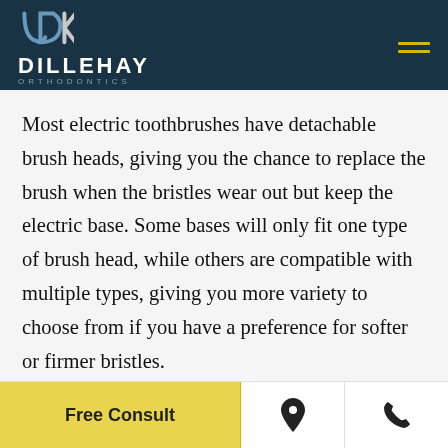Dillehay Orthodontics
Most electric toothbrushes have detachable brush heads, giving you the chance to replace the brush when the bristles wear out but keep the electric base. Some bases will only fit one type of brush head, while others are compatible with multiple types, giving you more variety to choose from if you have a preference for softer or firmer bristles.
Free Consult